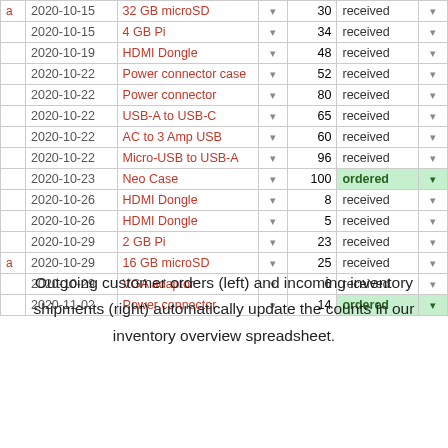|  | Date | Item |  | Qty | Status |  |
| --- | --- | --- | --- | --- | --- | --- |
| a | 2020-10-15 | 32 GB microSD | ▾ | 30 | received | ▾ |
|  | 2020-10-15 | 4 GB Pi | ▾ | 34 | received | ▾ |
|  | 2020-10-19 | HDMI Dongle | ▾ | 48 | received | ▾ |
|  | 2020-10-22 | Power connector case | ▾ | 52 | received | ▾ |
|  | 2020-10-22 | Power connector | ▾ | 80 | received | ▾ |
|  | 2020-10-22 | USB-A to USB-C | ▾ | 65 | received | ▾ |
|  | 2020-10-22 | AC to 3 Amp USB | ▾ | 60 | received | ▾ |
|  | 2020-10-22 | Micro-USB to USB-A | ▾ | 96 | received | ▾ |
|  | 2020-10-23 | Neo Case | ▾ | 100 | ordered | ▾ |
|  | 2020-10-26 | HDMI Dongle | ▾ | 8 | received | ▾ |
|  | 2020-10-26 | HDMI Dongle | ▾ | 5 | received | ▾ |
|  | 2020-10-29 | 2 GB Pi | ▾ | 23 | received | ▾ |
| a | 2020-10-29 | 16 GB microSD | ▾ | 25 | received | ▾ |
|  | 2020-10-29 | VGA adaptor | ▾ | 6 | received | ▾ |
|  | 2020-11-02 | Power connector | ▾ | 14 | ordered | ▾ |
Outgoing customer orders (left) and incoming inventory shipments (right) automatically update the counts in our inventory overview spreadsheet.